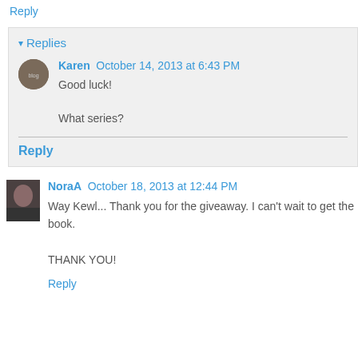Reply
▾ Replies
Karen October 14, 2013 at 6:43 PM
Good luck!

What series?
Reply
NoraA October 18, 2013 at 12:44 PM
Way Kewl... Thank you for the giveaway. I can't wait to get the book.

THANK YOU!
Reply